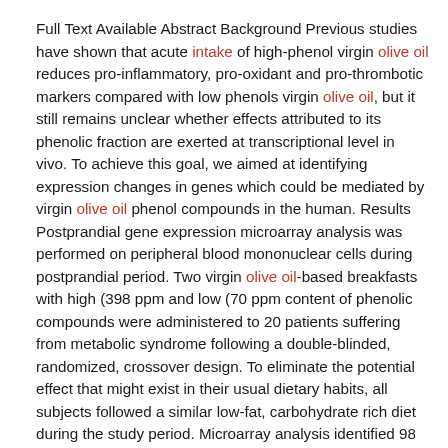Full Text Available Abstract Background Previous studies have shown that acute intake of high-phenol virgin olive oil reduces pro-inflammatory, pro-oxidant and pro-thrombotic markers compared with low phenols virgin olive oil, but it still remains unclear whether effects attributed to its phenolic fraction are exerted at transcriptional level in vivo. To achieve this goal, we aimed at identifying expression changes in genes which could be mediated by virgin olive oil phenol compounds in the human. Results Postprandial gene expression microarray analysis was performed on peripheral blood mononuclear cells during postprandial period. Two virgin olive oil-based breakfasts with high (398 ppm and low (70 ppm content of phenolic compounds were administered to 20 patients suffering from metabolic syndrome following a double-blinded, randomized, crossover design. To eliminate the potential effect that might exist in their usual dietary habits, all subjects followed a similar low-fat, carbohydrate rich diet during the study period. Microarray analysis identified 98 differentially expressed genes (79 underexpressed and 19 overexpressed when comparing the intake of phenol-rich olive oil with low-phenol olive oil. Many of these genes seem linked to obesity, dyslipemia and type 2 diabetes mellitus. Among these, several genes seem involved in